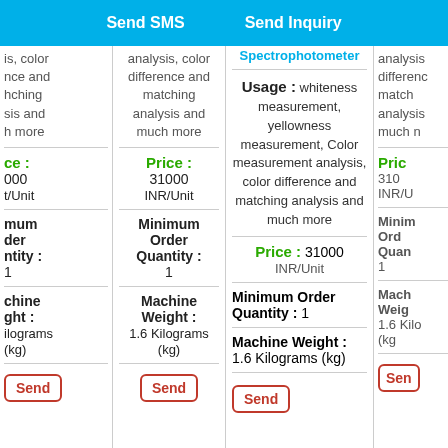Send SMS    Send Inquiry
analysis, color difference and matching analysis and much more
Price : 31000 INR/Unit
Minimum Order Quantity : 1
Machine Weight : 1.6 Kilograms (kg)
Spectrophotometer
Usage : whiteness measurement, yellowness measurement, Color measurement analysis, color difference and matching analysis and much more
Price : 31000 INR/Unit
Minimum Order Quantity : 1
Machine Weight : 1.6 Kilograms (kg)
Price : 310 INR/U
Minimum Order Quantity : 1
Machine Weight : 1.6 Kilo (kg)